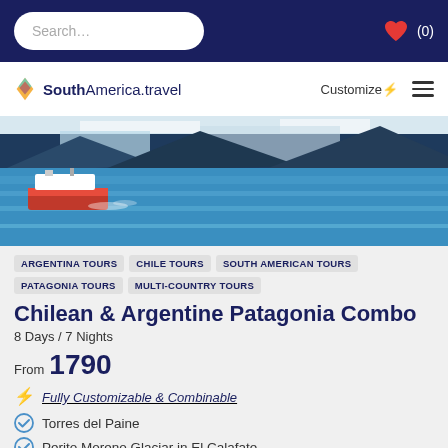Search... ❤ (0)
[Figure (logo): SouthAmerica.travel logo with Customize and hamburger menu buttons]
[Figure (photo): Hero photo of a boat on blue glacial lake with mountains and snow-capped cliffs in Patagonia]
ARGENTINA TOURS  CHILE TOURS  SOUTH AMERICAN TOURS  PATAGONIA TOURS  MULTI-COUNTRY TOURS
Chilean & Argentine Patagonia Combo
8 Days / 7 Nights
From 1790
⚡ Fully Customizable & Combinable
Torres del Paine
Perito Moreno Glaciar in El Calafate
Buenos Aires
Tango dinner show